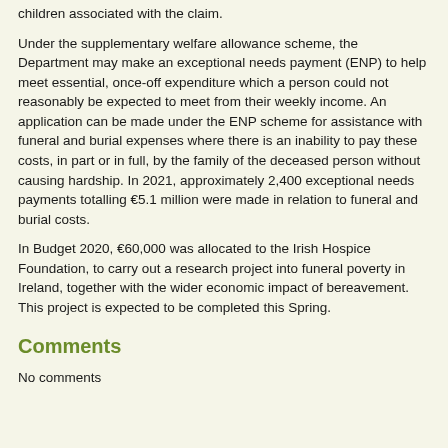children associated with the claim.
Under the supplementary welfare allowance scheme, the Department may make an exceptional needs payment (ENP) to help meet essential, once-off expenditure which a person could not reasonably be expected to meet from their weekly income. An application can be made under the ENP scheme for assistance with funeral and burial expenses where there is an inability to pay these costs, in part or in full, by the family of the deceased person without causing hardship. In 2021, approximately 2,400 exceptional needs payments totalling €5.1 million were made in relation to funeral and burial costs.
In Budget 2020, €60,000 was allocated to the Irish Hospice Foundation, to carry out a research project into funeral poverty in Ireland, together with the wider economic impact of bereavement. This project is expected to be completed this Spring.
Comments
No comments